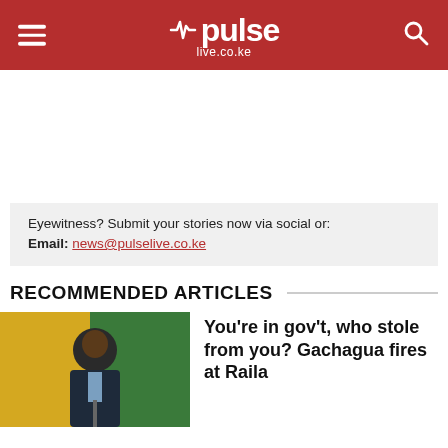pulse live.co.ke
Eyewitness? Submit your stories now via social or: Email: news@pulselive.co.ke
RECOMMENDED ARTICLES
[Figure (photo): Photo of a man speaking at a podium with yellow, green and red flag/background]
You're in gov't, who stole from you? Gachagua fires at Raila